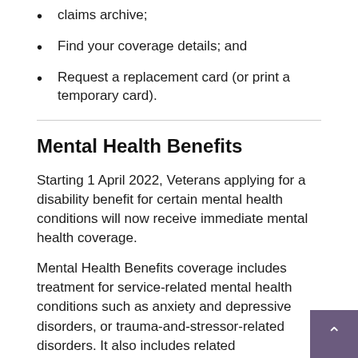claims archive;
Find your coverage details; and
Request a replacement card (or print a temporary card).
Mental Health Benefits
Starting 1 April 2022, Veterans applying for a disability benefit for certain mental health conditions will now receive immediate mental health coverage.
Mental Health Benefits coverage includes treatment for service-related mental health conditions such as anxiety and depressive disorders, or trauma-and-stressor-related disorders. It also includes related